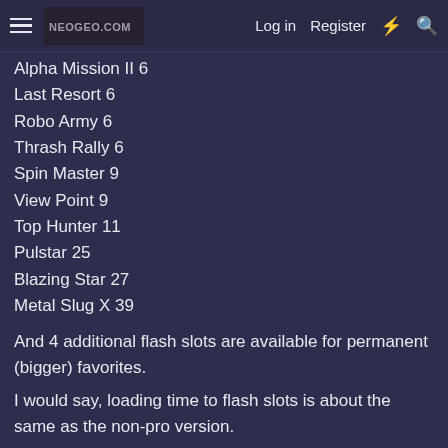Menu | NEOGEO.com | Log in | Register
Alpha Mission II 6
Last Resort 6
Robo Army 6
Thrash Rally 6
Spin Master 9
View Point 9
Top Hunter 11
Pulstar 25
Blazing Star 27
Metal Slug X 39
And 4 additional flash slots are available for permanent (bigger) favorites.
I would say, loading time to flash slots is about the same as the non-pro version.
Very happy with the cart. 🙂
I'm wondering, if the audio jack would work for a 2 player Thrash Rally setup.